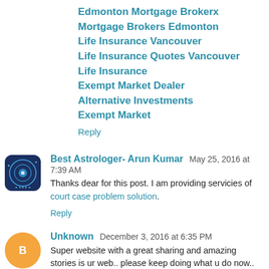Edmonton Mortgage Brokerx
Mortgage Brokers Edmonton
Life Insurance Vancouver
Life Insurance Quotes Vancouver
Life Insurance
Exempt Market Dealer
Alternative Investments
Exempt Market
Reply
Best Astrologer- Arun Kumar May 25, 2016 at 7:39 AM
Thanks dear for this post. I am providing servicies of court case problem solution.
Reply
Unknown December 3, 2016 at 6:35 PM
Super website with a great sharing and amazing stories is ur web.. please keep doing what u do now.. thanks to you.
Togel Online Singapore